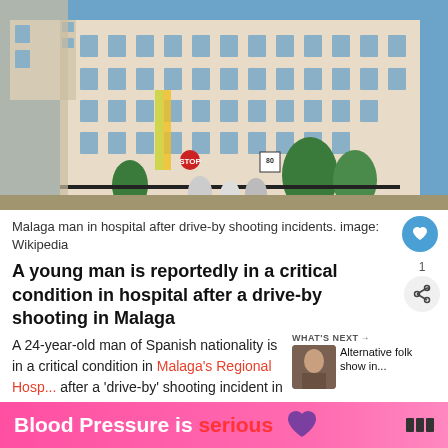[Figure (photo): Exterior of a multi-story hospital building in Malaga, Spain. People walking in front, palm trees and signage visible, blue sky background.]
Malaga man in hospital after drive-by shooting incidents. image: Wikipedia
A young man is reportedly in a critical condition in hospital after a drive-by shooting in Malaga
A 24-year-old man of Spanish nationality is in a critical condition in Malaga's Regional Hospital after a 'drive-by' shooting incident in the capital. The incident occurred on July 22 as the Various
[Figure (infographic): WHAT'S NEXT banner with thumbnail image and text: Alternative folk show in...]
[Figure (infographic): Advertisement banner: Blood Pressure is serious with a purple heart icon and weather/news logo]